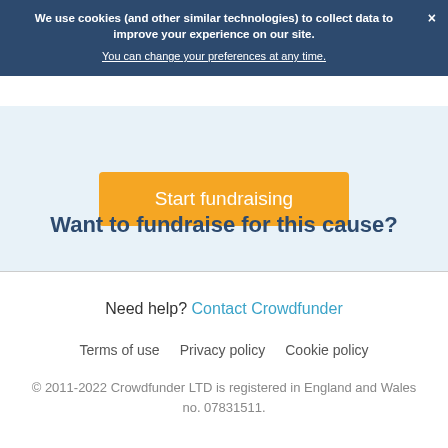We use cookies (and other similar technologies) to collect data to improve your experience on our site.
You can change your preferences at any time.
Want to fundraise for this cause?
Start fundraising
Need help? Contact Crowdfunder
Terms of use   Privacy policy   Cookie policy
© 2011-2022 Crowdfunder LTD is registered in England and Wales no. 07831511.